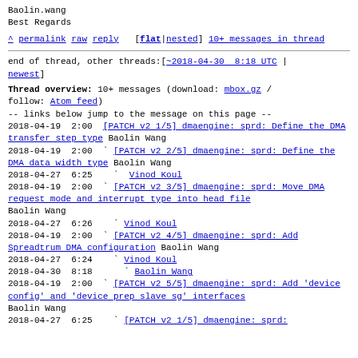Baolin.wang
Best Regards
^ permalink raw reply [flat|nested] 10+ messages in thread
end of thread, other threads:[~2018-04-30 8:18 UTC | newest]
Thread overview: 10+ messages (download: mbox.gz / follow: Atom feed)
-- links below jump to the message on this page --
2018-04-19  2:00  [PATCH v2 1/5] dmaengine: sprd: Define the DMA transfer step type  Baolin Wang
2018-04-19  2:00  ` [PATCH v2 2/5] dmaengine: sprd: Define the DMA data width type  Baolin Wang
2018-04-27  6:25    ` Vinod Koul
2018-04-19  2:00  ` [PATCH v2 3/5] dmaengine: sprd: Move DMA request mode and interrupt type into head file  Baolin Wang
2018-04-27  6:26    ` Vinod Koul
2018-04-19  2:00  ` [PATCH v2 4/5] dmaengine: sprd: Add Spreadtrum DMA configuration  Baolin Wang
2018-04-27  6:24    ` Vinod Koul
2018-04-30  8:18      ` Baolin Wang
2018-04-19  2:00  ` [PATCH v2 5/5] dmaengine: sprd: Add 'device config' and 'device prep slave sg' interfaces  Baolin Wang
2018-04-27  6:25    ` [PATCH v2 1/5] dmaengine: sprd: